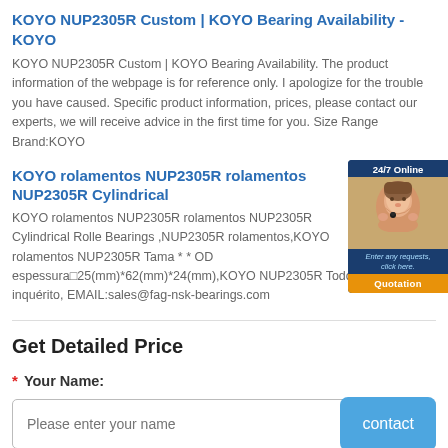KOYO NUP2305R Custom | KOYO Bearing Availability - KOYO
KOYO NUP2305R Custom | KOYO Bearing Availability. The product information of the webpage is for reference only. I apologize for the trouble you have caused. Specific product information, prices, please contact our experts, we will receive advice in the first time for you. Size Range Brand:KOYO
KOYO rolamentos NUP2305R rolamentos NUP2305R Cylindrical
[Figure (photo): 24/7 Online chat widget with a female customer service agent photo and a Quotation button]
KOYO rolamentos NUP2305R rolamentos NUP2305R Cylindrical Rolle Bearings ,NUP2305R rolamentos,KOYO rolamentos NUP2305R Tama * * OD espessura□25(mm)*62(mm)*24(mm),KOYO NUP2305R Todo inquérito, EMAIL:sales@fag-nsk-bearings.com
Get Detailed Price
* Your Name:
Please enter your name